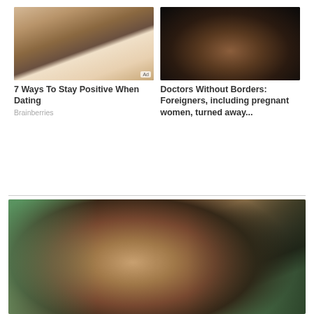[Figure (photo): Couple embracing in romantic scene, man and woman in white, indoor setting]
7 Ways To Stay Positive When Dating
Brainberries
[Figure (photo): Dark silhouette of pregnant woman's belly against dark background]
Doctors Without Borders: Foreigners, including pregnant women, turned away...
[Figure (photo): Bald tattooed man kissing a baby with blue eyes, green background]